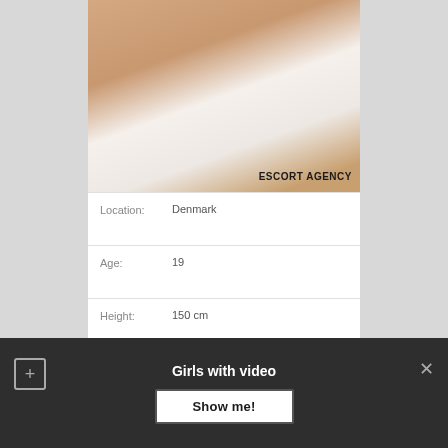[Figure (photo): Photo of a person on a white bed with 'ESCORT AGENCY' text watermark in the lower right corner]
| Location: | Denmark |
| Age: | 19 |
| Height: | 150 cm |
| Body weight: | 56 |
Girls with video
Show me!